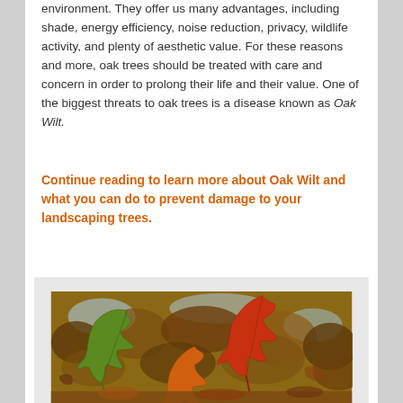environment. They offer us many advantages, including shade, energy efficiency, noise reduction, privacy, wildlife activity, and plenty of aesthetic value. For these reasons and more, oak trees should be treated with care and concern in order to prolong their life and their value. One of the biggest threats to oak trees is a disease known as Oak Wilt.
Continue reading to learn more about Oak Wilt and what you can do to prevent damage to your landscaping trees.
[Figure (photo): Close-up photo of oak tree leaves, showing green and red/orange autumn foliage against a background of brown leaves and blue sky, illustrating Oak Wilt disease context.]